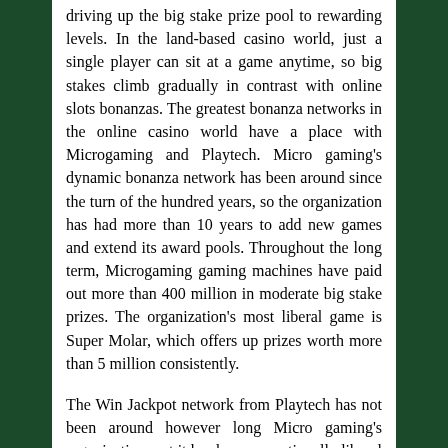driving up the big stake prize pool to rewarding levels. In the land-based casino world, just a single player can sit at a game anytime, so big stakes climb gradually in contrast with online slots bonanzas. The greatest bonanza networks in the online casino world have a place with Microgaming and Playtech. Micro gaming's dynamic bonanza network has been around since the turn of the hundred years, so the organization has had more than 10 years to add new games and extend its award pools. Throughout the long term, Microgaming gaming machines have paid out more than 400 million in moderate big stake prizes. The organization's most liberal game is Super Molar, which offers up prizes worth more than 5 million consistently.
The Win Jackpot network from Playtech has not been around however long Micro gaming's organization, yet it has been exceptionally liberal as long as necessary. The organization was laid out in 2003 and has paid out more than 126 million in rewards throughout the 10 years. The greatest big stake at any point granted by Playtech merited a noteworthy 7.5 million from the game Ocean